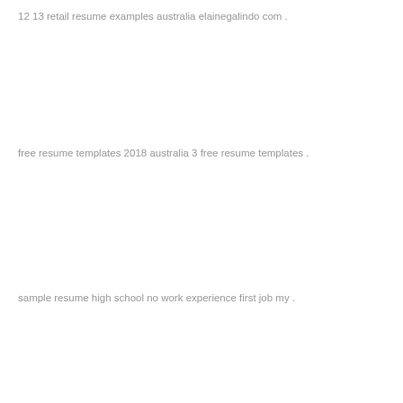12 13 retail resume examples australia elainegalindo com .
free resume templates 2018 australia 3 free resume templates .
sample resume high school no work experience first job my .